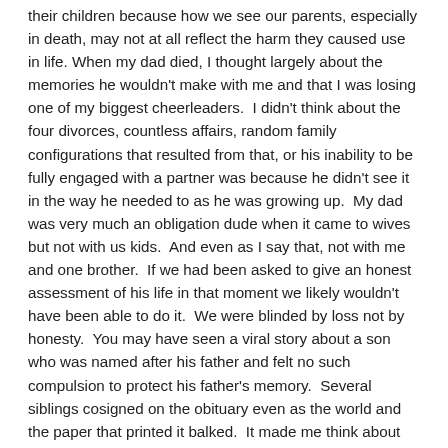their children because how we see our parents, especially in death, may not at all reflect the harm they caused use in life. When my dad died, I thought largely about the memories he wouldn't make with me and that I was losing one of my biggest cheerleaders.  I didn't think about the four divorces, countless affairs, random family configurations that resulted from that, or his inability to be fully engaged with a partner was because he didn't see it in the way he needed to as he was growing up.  My dad was very much an obligation dude when it came to wives but not with us kids.  And even as I say that, not with me and one brother.  If we had been asked to give an honest assessment of his life in that moment we likely wouldn't have been able to do it.  We were blinded by loss not by honesty.  You may have seen a viral story about a son who was named after his father and felt no such compulsion to protect his father's memory.  Several siblings cosigned on the obituary even as the world and the paper that printed it balked.  It made me think about what I'd write about mom and that I shouldn't write it because my view has been influence by nearly 20 years of care taking. That brings me to this relative's death.  The siblings are gathering their thoughts in tribute right now.  I had to ask if they